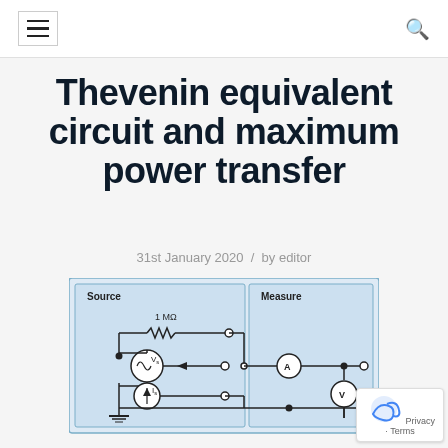Thevenin equivalent circuit and maximum power transfer
31st January 2020 / by editor
[Figure (circuit-diagram): Thevenin equivalent circuit diagram showing a Source section (with 1 MΩ resistor, voltage source Vs, current source Is) and a Measure section (with ammeter A and voltmeter V) connected together.]